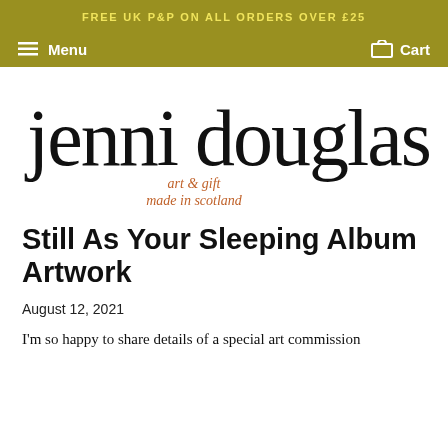FREE UK P&P ON ALL ORDERS OVER £25
Menu   Cart
[Figure (logo): Jenni Douglas art & gift made in scotland handwritten signature logo]
Still As Your Sleeping Album Artwork
August 12, 2021
I'm so happy to share details of a special art commission